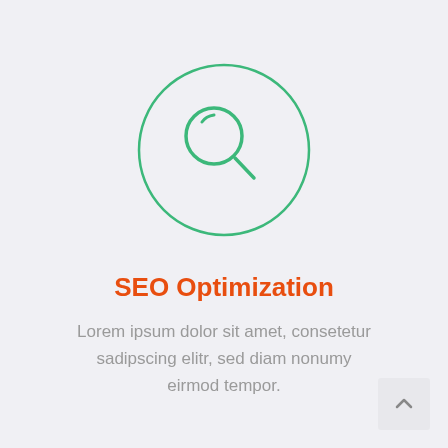[Figure (illustration): A magnifying glass icon inside a large circle, drawn with green outlines on a light gray background.]
SEO Optimization
Lorem ipsum dolor sit amet, consetetur sadipscing elitr, sed diam nonumy eirmod tempor.